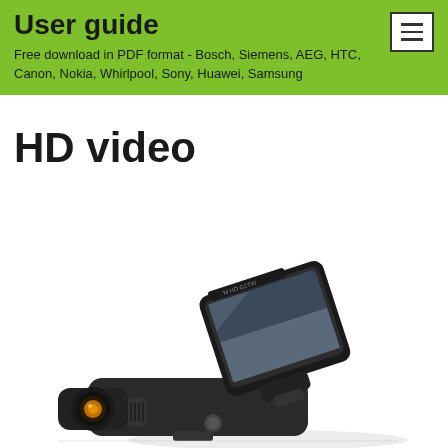User guide
Free download in PDF format - Bosch, Siemens, AEG, HTC, Canon, Nokia, Whirlpool, Sony, Huawei, Samsung
HD video
[Figure (photo): A dashboard camera (dash cam) with a tilted LCD screen showing an image, and a wide-angle lens camera body on the left, photographed on a white background.]